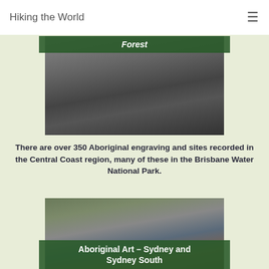Hiking the World
[Figure (photo): Black and white photo of Aboriginal rock engraving showing a hand/footprint carved into stone, with partial green banner overlay at top reading 'Forest']
There are over 350 Aboriginal engraving and sites recorded in the Central Coast region, many of these in the Brisbane Water National Park.
[Figure (photo): Aerial/overhead photo of Aboriginal rock art engravings on stone surface with green banner overlay reading 'Aboriginal Art – Sydney and Sydney South']